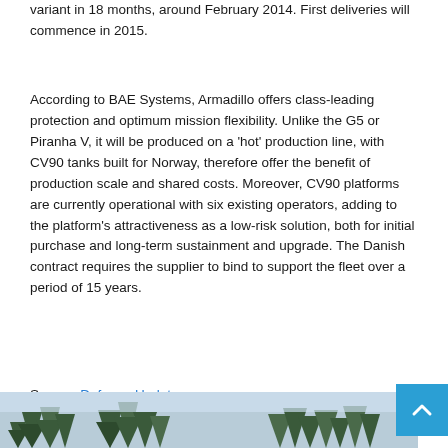variant in 18 months, around February 2014. First deliveries will commence in 2015.
According to BAE Systems, Armadillo offers class-leading protection and optimum mission flexibility. Unlike the G5 or Piranha V, it will be produced on a ‘hot’ production line, with CV90 tanks built for Norway, therefore offer the benefit of production scale and shared costs. Moreover, CV90 platforms are currently operational with six existing operators, adding to the platform’s attractiveness as a low-risk solution, both for initial purchase and long-term sustainment and upgrade. The Danish contract requires the supplier to bind to support the fleet over a period of 15 years.
Source: Defense-Update
[Figure (photo): Bottom portion of a photo showing pine/fir trees against a misty, overcast sky]